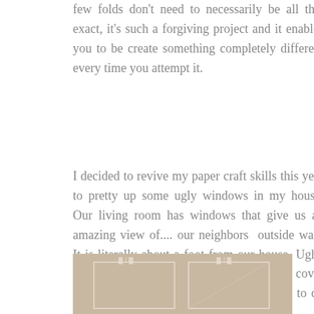few folds don't need to necessarily be all that exact, it's such a forgiving project and it enables you to be create something completely different every time you attempt it.
I decided to revive my paper craft skills this year to pretty up some ugly windows in my house. Our living room has windows that give us an amazing view of.... our neighbors outside wall. It is literally about a foot from our house. Ugh. So I set to creating a winter wonderland to cover up the ugliness.... and now I kind of want to do the same to every window in my house ;)
[Figure (photo): Beige/tan colored image showing two window frames side by side with bracket/mount hardware visible above each window panel]